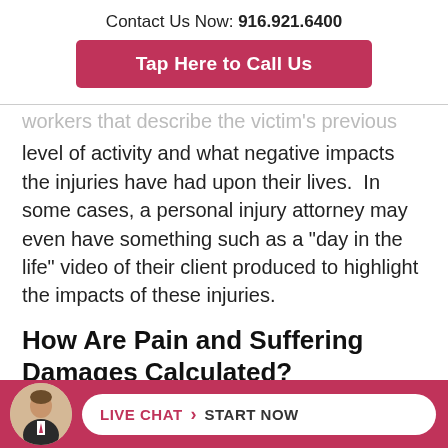Contact Us Now: 916.921.6400
Tap Here to Call Us
...workers that describe the victim's previous level of activity and what negative impacts the injuries have had upon their lives.  In some cases, a personal injury attorney may even have something such as a "day in the life" video of their client produced to highlight the impacts of these injuries.
How Are Pain and Suffering Damages Calculated?
The short answer is, they're not.  Or rather,
LIVE CHAT  START NOW